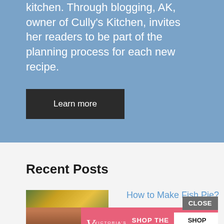kitchen. Through blogging, AK, owner of Cully's Kitchen, invites her readers to be part of the planning process for each new recipe.
Learn more
Recent Posts
[Figure (photo): Thumbnail image of a food dish (appears to show colorful noodles or pasta with greens)]
How to Make Fish Pie?
[Figure (photo): Victoria's Secret advertisement banner showing a model with curly hair, Victoria's Secret logo, text 'SHOP THE COLLECTION' and a 'SHOP NOW' button]